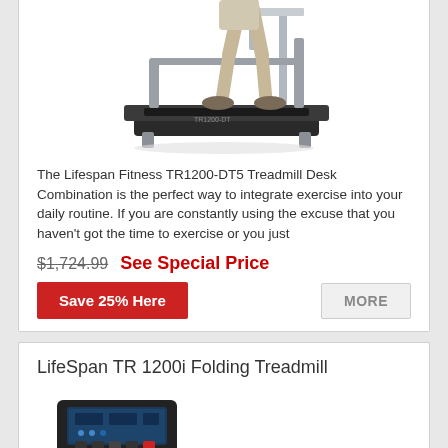[Figure (photo): Lifespan Fitness TR1200-DT5 Treadmill Desk Combination product photo showing a person walking on a treadmill with a desk attachment]
The Lifespan Fitness TR1200-DT5 Treadmill Desk Combination is the perfect way to integrate exercise into your daily routine. If you are constantly using the excuse that you haven't got the time to exercise or you just
$1,724.99  See Special Price
Save 25% Here
MORE
LifeSpan TR 1200i Folding Treadmill
[Figure (photo): Partial view of LifeSpan TR 1200i Folding Treadmill console/display panel]